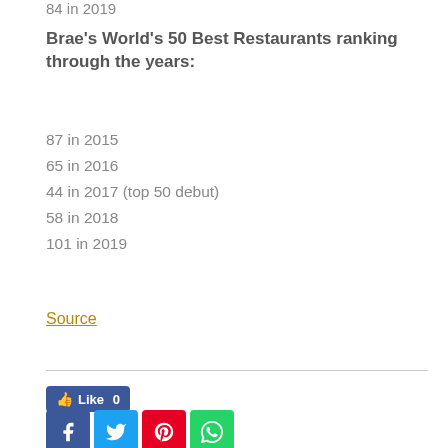84 in 2019
Brae's World's 50 Best Restaurants ranking through the years:
87 in 2015
65 in 2016
44 in 2017 (top 50 debut)
58 in 2018
101 in 2019
Source
[Figure (other): Social share buttons: Facebook Like button showing 0 likes, and four social media share icons (Facebook, Twitter, Pinterest, WhatsApp)]